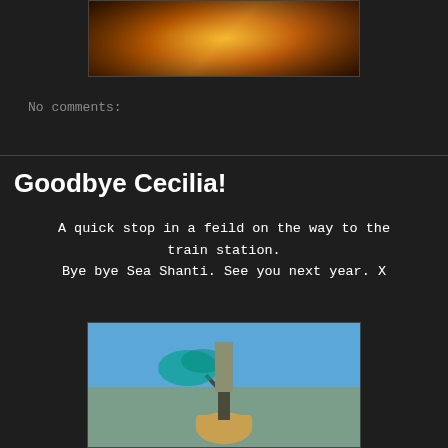[Figure (photo): Photo of fiery orange and golden abstract image, partially visible at top of page]
No comments:
Goodbye Cecilia!
A quick stop in a feild on the way to the train station.
Bye bye Sea Shanti. See you next year. X
[Figure (photo): Photo of a person standing on a hay bale holding a green smoke flare against a blue sky]